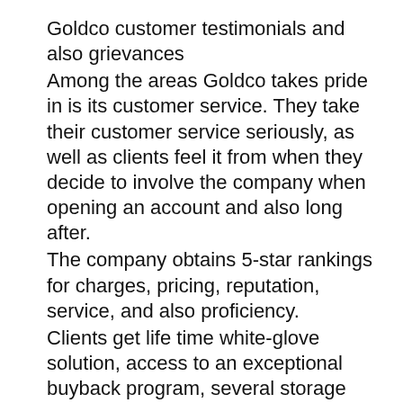Goldco customer testimonials and also grievances
Among the areas Goldco takes pride in is its customer service. They take their customer service seriously, as well as clients feel it from when they decide to involve the company when opening an account and also long after.
The company obtains 5-star rankings for charges, pricing, reputation, service, and also proficiency.
Clients get life time white-glove solution, access to an exceptional buyback program, several storage choices, a 5% refund in metal on orders over $50,000, and also a charge waiver for the first year for orders above $50,000.